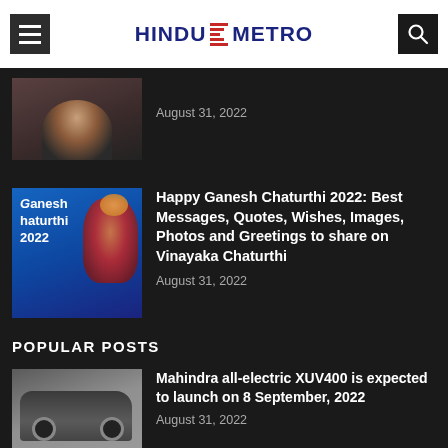HINDU METRO
[Figure (photo): Partial photo of a man with a moustache smiling, dark background]
August 31, 2022
[Figure (photo): Ganesh Chaturthi 2022 promotional image showing Ganesh idol on blue background with text 'Ganesh Chaturthi 2022']
Happy Ganesh Chaturthi 2022: Best Messages, Quotes, Wishes, Images, Photos and Greetings to share on Vinayaka Chaturthi
August 31, 2022
POPULAR POSTS
[Figure (photo): Mahindra all-electric XUV400 SUV car on grey background]
Mahindra all-electric XUV400 is expected to launch on 8 September, 2022
August 31, 2022
[Figure (photo): Partial photo of a person with dark hair]
Kamal Rashid Khan Arrested Over